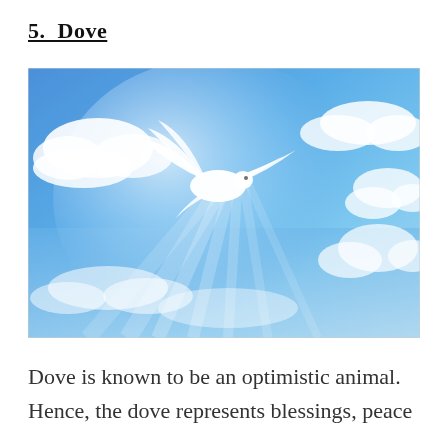5.  Dove
[Figure (photo): A white dove in flight against a blue sky with white clouds and dramatic sunbeams radiating outward from behind the dove]
Dove is known to be an optimistic animal. Hence, the dove represents blessings, peace